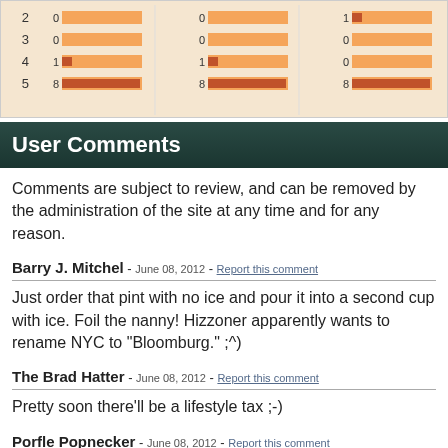[Figure (bar-chart): Horizontal bar chart showing ratings 2-5 across three columns, with values 0,0,1 / 0,0,0 / 1,1,0 / 8,8,8]
User Comments
Comments are subject to review, and can be removed by the administration of the site at any time and for any reason.
Barry J. Mitchel - June 08, 2012 - Report this comment
Just order that pint with no ice and pour it into a second cup with ice. Foil the nanny! Hizzoner apparently wants to rename NYC to "Bloomburg." ;^)
The Brad Hatter - June 08, 2012 - Report this comment
Pretty soon there'll be a lifestyle tax ;-)
Porfle Popnecker - June 08, 2012 - Report this comment
This is the kind of politics I can understand.